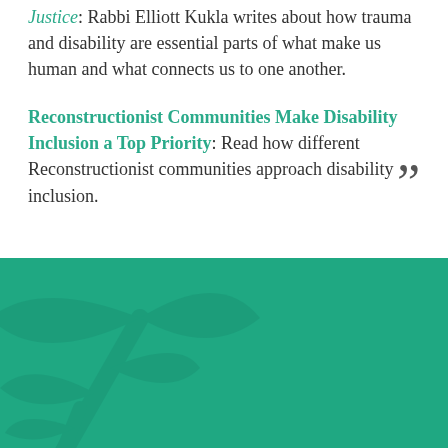Justice: Rabbi Elliott Kukla writes about how trauma and disability are essential parts of what make us human and what connects us to one another.
Reconstructionist Communities Make Disability Inclusion a Top Priority: Read how different Reconstructionist communities approach disability inclusion.
[Figure (illustration): Teal/green background panel with a darker teal stylized leaf or branch watermark design in the lower-left area.]